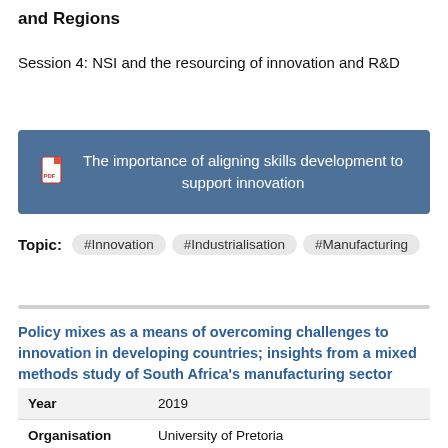and Regions
Session 4: NSI and the resourcing of innovation and R&D
[Figure (other): Blue banner with PDF icon and text: The importance of aligning skills development to support innovation]
Topic: #Innovation #Industrialisation #Manufacturing
Policy mixes as a means of overcoming challenges to innovation in developing countries; insights from a mixed methods study of South Africa's manufacturing sector
|  |  |
| --- | --- |
| Year | 2019 |
| Organisation | University of Pretoria |
| Author(s) |  |